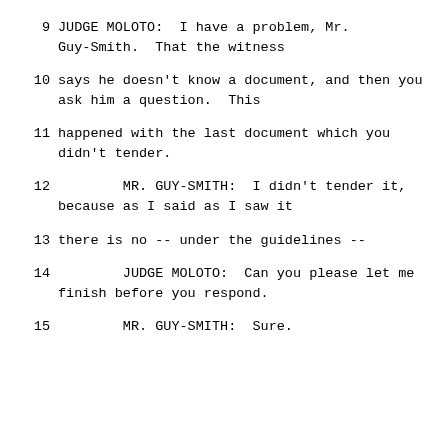9    JUDGE MOLOTO:  I have a problem, Mr. Guy-Smith.  That the witness
10     says he doesn't know a document, and then you ask him a question.  This
11     happened with the last document which you didn't tender.
12           MR. GUY-SMITH:  I didn't tender it, because as I said as I saw it
13     there is no -- under the guidelines --
14           JUDGE MOLOTO:  Can you please let me finish before you respond.
15           MR. GUY-SMITH:  Sure.